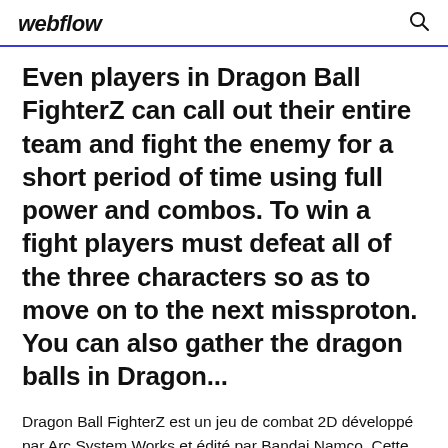webflow
Even players in Dragon Ball FighterZ can call out their entire team and fight the enemy for a short period of time using full power and combos. To win a fight players must defeat all of the three characters so as to move on to the next missproton. You can also gather the dragon balls in Dragon...
Dragon Ball FighterZ est un jeu de combat 2D développé par Arc System Works et édité par Bandai Namco. Cette nouvelle adaptation de la